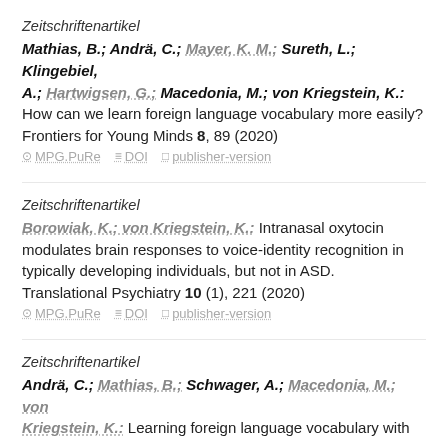Zeitschriftenartikel
Mathias, B.; Andrä, C.; Mayer, K. M.; Sureth, L.; Klingebiel, A.; Hartwigsen, G.; Macedonia, M.; von Kriegstein, K.: How can we learn foreign language vocabulary more easily? Frontiers for Young Minds 8, 89 (2020)
MPG.PuRe  DOI  publisher-version
Zeitschriftenartikel
Borowiak, K.; von Kriegstein, K.: Intranasal oxytocin modulates brain responses to voice-identity recognition in typically developing individuals, but not in ASD. Translational Psychiatry 10 (1), 221 (2020)
MPG.PuRe  DOI  publisher-version
Zeitschriftenartikel
Andrä, C.; Mathias, B.; Schwager, A.; Macedonia, M.; von Kriegstein, K.: Learning foreign language vocabulary with